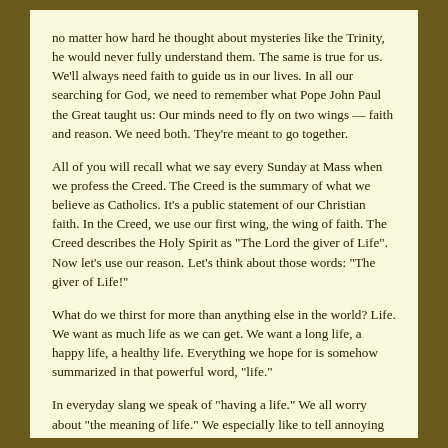no matter how hard he thought about mysteries like the Trinity, he would never fully understand them. The same is true for us. We'll always need faith to guide us in our lives. In all our searching for God, we need to remember what Pope John Paul the Great taught us: Our minds need to fly on two wings — faith and reason. We need both. They're meant to go together.
All of you will recall what we say every Sunday at Mass when we profess the Creed. The Creed is the summary of what we believe as Catholics. It's a public statement of our Christian faith. In the Creed, we use our first wing, the wing of faith. The Creed describes the Holy Spirit as "The Lord the giver of Life". Now let's use our reason. Let's think about those words: "The giver of Life!"
What do we thirst for more than anything else in the world? Life. We want as much life as we can get. We want a long life, a happy life, a healthy life. Everything we hope for is somehow summarized in that powerful word, "life."
In everyday slang we speak of "having a life." We all worry about "the meaning of life." We especially like to tell annoying people to "go get a life." We make big plans for our future. We spend huge energy and resources to "build a life." And yet the Church has been telling us all along that the Holy Spirit is none other than the "giver of life," a kind of fusion engine of